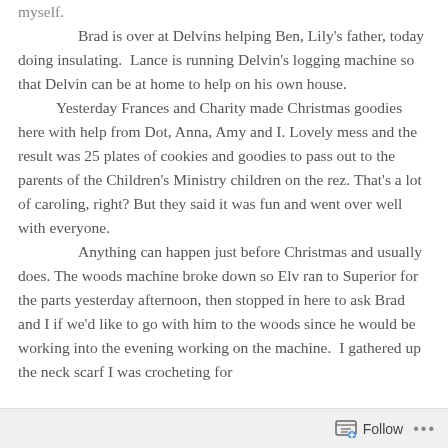myself.

    Brad is over at Delvins helping Ben, Lily's father, today doing insulating.  Lance is running Delvin's logging machine so that Delvin can be at home to help on his own house.

    Yesterday Frances and Charity made Christmas goodies here with help from Dot, Anna, Amy and I. Lovely mess and the result was 25 plates of cookies and goodies to pass out to the parents of the Children's Ministry children on the rez. That's a lot of caroling, right? But they said it was fun and went over well with everyone.

    Anything can happen just before Christmas and usually does. The woods machine broke down so Elv ran to Superior for the parts yesterday afternoon, then stopped in here to ask Brad and I if we'd like to go with him to the woods since he would be working into the evening working on the machine.  I gathered up the neck scarf I was crocheting for
Follow ···